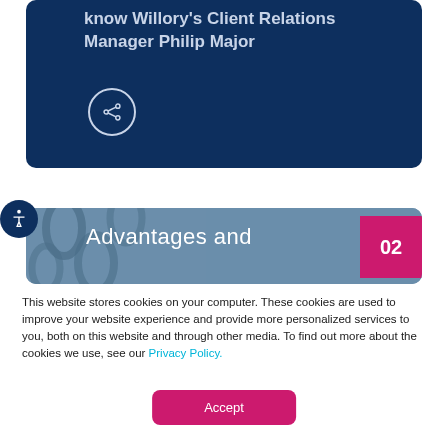know Willory's Client Relations Manager Philip Major
[Figure (illustration): Share button icon (circle with share symbol) on dark navy card]
[Figure (illustration): Accessibility icon button (wheelchair symbol) in dark navy circle]
[Figure (illustration): Card with blurred binder/notebook background image, text 'Advantages and' in white handwritten font, pink box with '02']
This website stores cookies on your computer. These cookies are used to improve your website experience and provide more personalized services to you, both on this website and through other media. To find out more about the cookies we use, see our Privacy Policy.
Accept